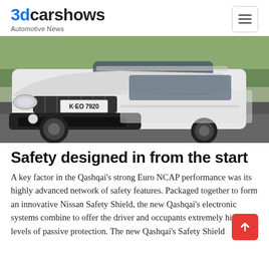3dcarshows — Automotive News
[Figure (photo): Front-low-angle view of a white Nissan Qashqai SUV with German license plate K·EO 7920, driving on a wet road with green fields in background.]
Safety designed in from the start
A key factor in the Qashqai's strong Euro NCAP performance was its highly advanced network of safety features. Packaged together to form an innovative Nissan Safety Shield, the new Qashqai's electronic systems combine to offer the driver and occupants extremely high levels of passive protection. The new Qashqai's Safety Shield technologies incorporate Forward E...